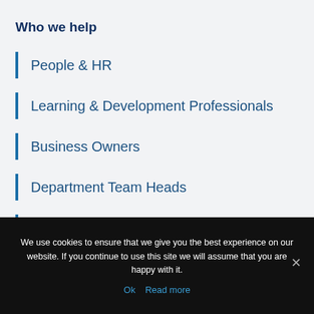Who we help
People & HR
Learning & Development Professionals
Business Owners
Department Team Heads
Effective Delegation Skills Training
Why choose PDW?
We use cookies to ensure that we give you the best experience on our website. If you continue to use this site we will assume that you are happy with it.
Ok   Read more